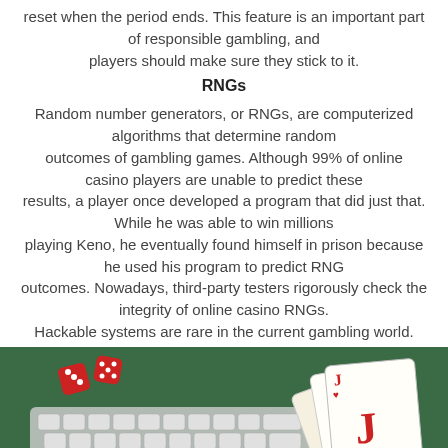reset when the period ends. This feature is an important part of responsible gambling, and players should make sure they stick to it.
RNGs
Random number generators, or RNGs, are computerized algorithms that determine random outcomes of gambling games. Although 99% of online casino players are unable to predict these results, a player once developed a program that did just that. While he was able to win millions playing Keno, he eventually found himself in prison because he used his program to predict RNG outcomes. Nowadays, third-party testers rigorously check the integrity of online casino RNGs. Hackable systems are rare in the current gambling world.
[Figure (photo): Photo showing hands on a laptop keyboard with red dice and playing cards including a Jack of Hearts on a green surface]